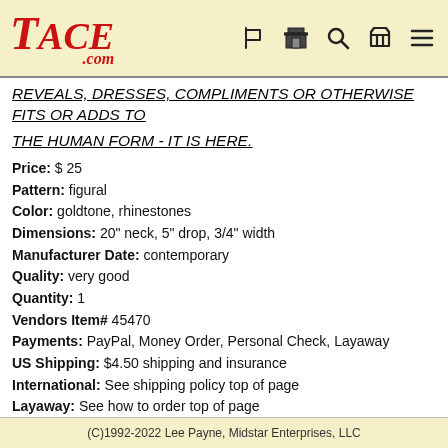TACE.COM navigation header with logo and icons
REVEALS, DRESSES, COMPLIMENTS OR OTHERWISE FITS OR ADDS TO
THE HUMAN FORM - IT IS HERE.
Price: $ 25
Pattern: figural
Color: goldtone, rhinestones
Dimensions: 20" neck, 5" drop, 3/4" width
Manufacturer Date: contemporary
Quality: very good
Quantity: 1
Vendors Item# 45470
Payments: PayPal, Money Order, Personal Check, Layaway
US Shipping: $4.50 shipping and insurance
International: See shipping policy top of page
Layaway: See how to order top of page
(C)1992-2022 Lee Payne, Midstar Enterprises, LLC